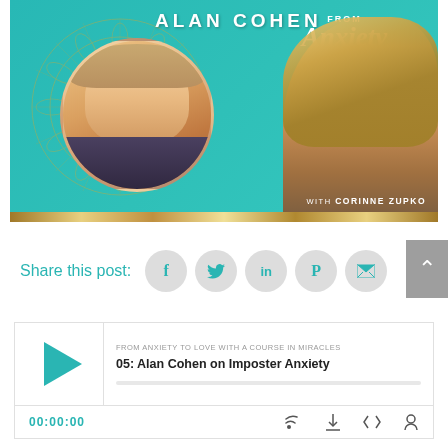[Figure (photo): Podcast cover art for 'From Anxiety to Love Radio' featuring Alan Cohen (man in circular photo with mandala background on teal) and host Corinne Zupko (woman on right side). Teal background with gold foil border.]
Share this post:
[Figure (screenshot): Podcast player widget showing episode '05: Alan Cohen on Imposter Anxiety' from 'FROM ANXIETY TO LOVE WITH A COURSE IN MIRACLES' with play button, progress bar, time 00:00:00, and control icons.]